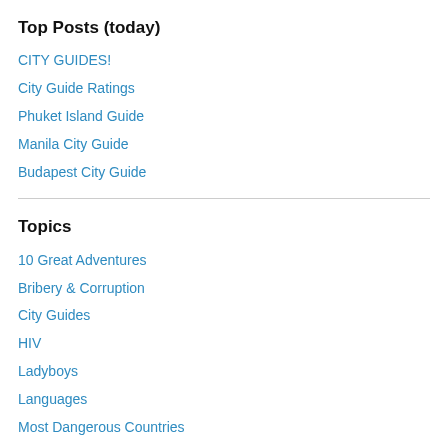Top Posts (today)
CITY GUIDES!
City Guide Ratings
Phuket Island Guide
Manila City Guide
Budapest City Guide
Topics
10 Great Adventures
Bribery & Corruption
City Guides
HIV
Ladyboys
Languages
Most Dangerous Countries
Pick up techniques
Poems & Limericks
Sex & Dating